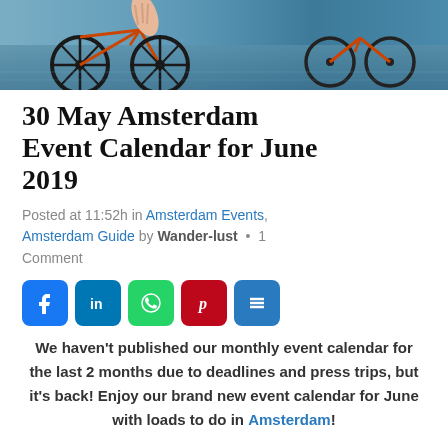[Figure (photo): Banner photo showing bicycles near water, a hand visible holding a bike handle, Amsterdam-style cityscape]
30 May Amsterdam Event Calendar for June 2019
Posted at 11:52h in Amsterdam Events, Amsterdam Guide by Wander-lust • 1 Comment
[Figure (infographic): Social share buttons: Facebook (blue), LinkedIn (blue), WhatsApp (green), Pinterest (red), More/Share (blue)]
We haven't published our monthly event calendar for the last 2 months due to deadlines and press trips, but it's back! Enjoy our brand new event calendar for June with loads to do in Amsterdam!